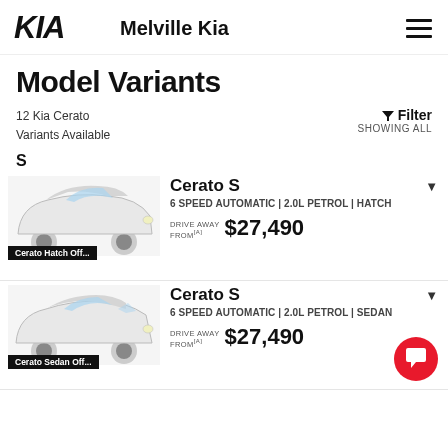[Figure (logo): Kia logo and Melville Kia dealer name in header with hamburger menu icon]
Model Variants
12 Kia Cerato Variants Available
Filter SHOWING ALL
S
[Figure (photo): White Kia Cerato Hatch front three-quarter view, labeled Cerato Hatch Off...]
Cerato S
6 SPEED AUTOMATIC | 2.0L PETROL | HATCH
DRIVE AWAY FROM[A] $27,490
[Figure (photo): White Kia Cerato Sedan front three-quarter view, labeled Cerato Sedan Off...]
Cerato S
6 SPEED AUTOMATIC | 2.0L PETROL | SEDAN
DRIVE AWAY FROM[A] $27,490